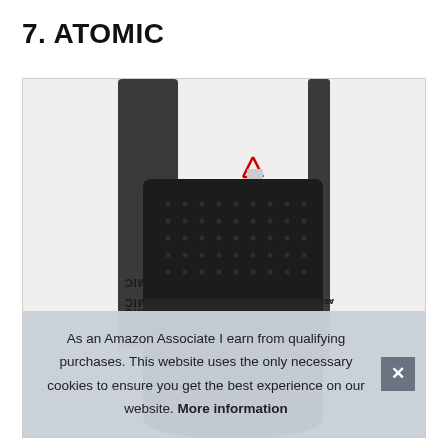7. ATOMIC
[Figure (photo): Black Atomic branded bag/backpack with 'ATOMIC' text on straps, perforated fabric body, red zipper pull, shown against white background]
As an Amazon Associate I earn from qualifying purchases. This website uses the only necessary cookies to ensure you get the best experience on our website. More information